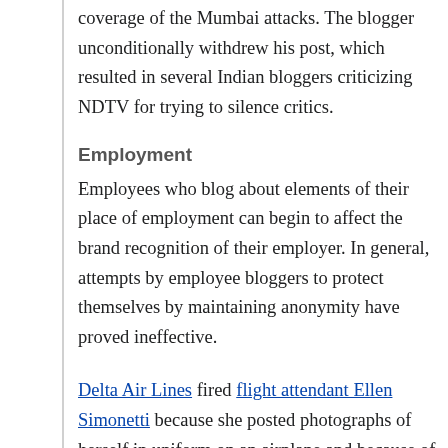coverage of the Mumbai attacks. The blogger unconditionally withdrew his post, which resulted in several Indian bloggers criticizing NDTV for trying to silence critics.
Employment
Employees who blog about elements of their place of employment can begin to affect the brand recognition of their employer. In general, attempts by employee bloggers to protect themselves by maintaining anonymity have proved ineffective.
Delta Air Lines fired flight attendant Ellen Simonetti because she posted photographs of herself in uniform on an airplane and because of comments posted on her blog "Queen of Sky: Diary of a Flight Attendant" which the employer deemed